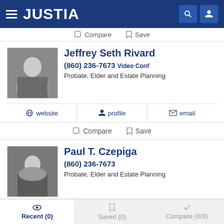JUSTIA
Compare  Save
Jeffrey Seth Rivard
(860) 236-7673  Video Conf
Probate, Elder and Estate Planning
website  profile  email
Compare  Save
Paul T. Czepiga
(860) 236-7673
Probate, Elder and Estate Planning
website  profile  email
Recent (0)  Saved (0)  Compare (0/3)